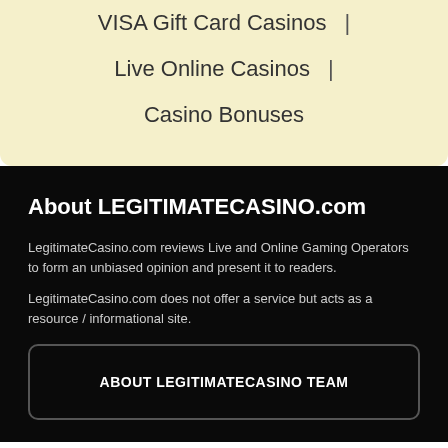VISA Gift Card Casinos | Live Online Casinos | Casino Bonuses
About LEGITIMATECASINO.com
LegitimateCasino.com reviews Live and Online Gaming Operators to form an unbiased opinion and present it to readers.
LegitimateCasino.com does not offer a service but acts as a resource / informational site.
ABOUT LEGITIMATECASINO TEAM